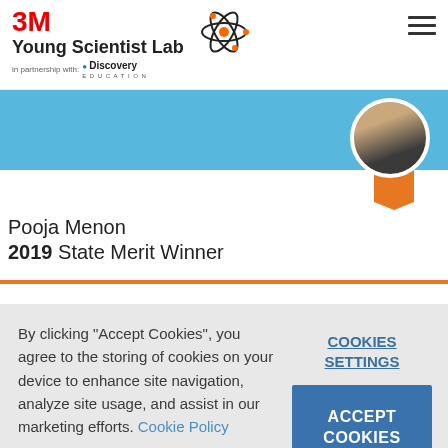[Figure (logo): 3M Young Scientist Lab logo with atom graphic and Discovery Education partnership text]
[Figure (photo): Profile photo of Pooja Menon in a circular frame with orange ribbon badge below]
Pooja Menon
2019 State Merit Winner
By clicking "Accept Cookies", you agree to the storing of cookies on your device to enhance site navigation, analyze site usage, and assist in our marketing efforts. Cookie Policy
COOKIES SETTINGS
ACCEPT COOKIES